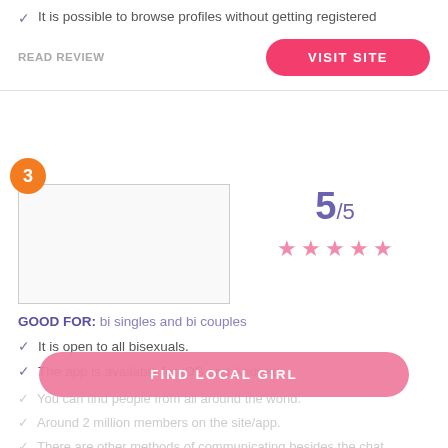It is possible to browse profiles without getting registered
READ REVIEW
VISIT SITE
[Figure (other): Number badge '3' and placeholder image box for listing #3]
5/5
★★★★★
GOOD FOR: bi singles and bi couples
It is open to all bisexuals.
The app is available for iOS and Android.
You can find people from all around the world.
Around 2 million members on the site/app.
There are other methods of communicating besides the chat.
FIND LOCAL GIRL